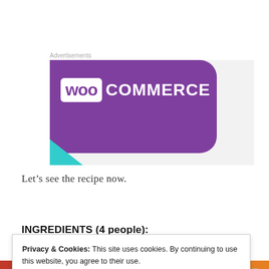Advertisements
[Figure (logo): WooCommerce advertisement banner with purple background and teal corner accent, featuring WooCommerce logo in white]
Let’s see the recipe now.
INGREDIENTS (4 people):
Privacy & Cookies: This site uses cookies. By continuing to use this website, you agree to their use.
To find out more, including how to control cookies, see here: Cookie Policy
Close and accept